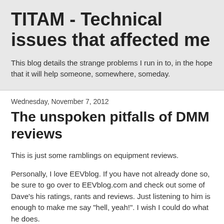TITAM - Technical issues that affected me
This blog details the strange problems I run in to, in the hope that it will help someone, somewhere, someday.
Wednesday, November 7, 2012
The unspoken pitfalls of DMM reviews
This is just some ramblings on equipment reviews.
Personally, I love EEVblog.  If you have not already done so, be sure to go over to EEVblog.com and check out some of Dave's his ratings, rants and reviews.  Just listening to him is enough to make me say "hell, yeah!".  I wish I could do what he does.